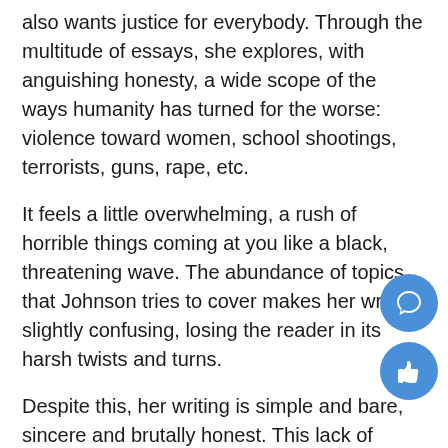also wants justice for everybody. Through the multitude of essays, she explores, with anguishing honesty, a wide scope of the ways humanity has turned for the worse: violence toward women, school shootings, terrorists, guns, rape, etc.
It feels a little overwhelming, a rush of horrible things coming at you like a black, threatening wave. The abundance of topics that Johnson tries to cover makes her writing slightly confusing, losing the reader in its harsh twists and turns.
Despite this, her writing is simple and bare, sincere and brutally honest. This lack of flowery words lends clarity to her prose, letting it penetrate deeper and fiercer, like a polished diamond. Her words are unobstructed by unnecessary language, making them easier to understan
The first several essays were so bare they were slightly f while the topics she covered were timely and powerful, h